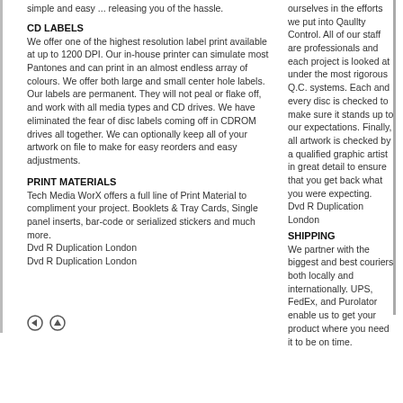simple and easy ... releasing you of the hassle.
CD LABELS
We offer one of the highest resolution label print available at up to 1200 DPI. Our in-house printer can simulate most Pantones and can print in an almost endless array of colours. We offer both large and small center hole labels. Our labels are permanent. They will not peal or flake off, and work with all media types and CD drives. We have eliminated the fear of disc labels coming off in CDROM drives all together. We can optionally keep all of your artwork on file to make for easy reorders and easy adjustments.
PRINT MATERIALS
Tech Media WorX offers a full line of Print Material to compliment your project. Booklets & Tray Cards, Single panel inserts, bar-code or serialized stickers and much more.
Dvd R Duplication London
Dvd R Duplication London
ourselves in the efforts we put into Qaullty Control. All of our staff are professionals and each project is looked at under the most rigorous Q.C. systems. Each and every disc is checked to make sure it stands up to our expectations. Finally, all artwork is checked by a qualified graphic artist in great detail to ensure that you get back what you were expecting.
Dvd R Duplication London
SHIPPING
We partner with the biggest and best couriers both locally and internationally. UPS, FedEx, and Purolator enable us to get your product where you need it to be on time.
[Figure (other): Navigation icons: left arrow circle and up arrow circle]